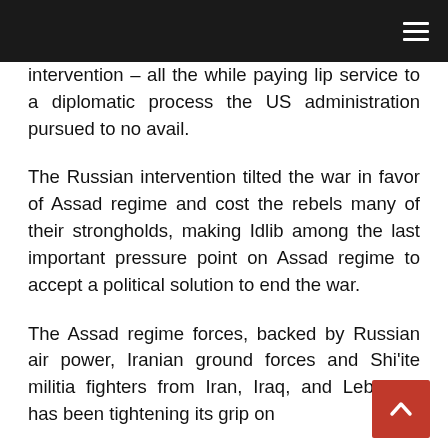intervention – all the while paying lip service to a diplomatic process the US administration pursued to no avail.
The Russian intervention tilted the war in favor of Assad regime and cost the rebels many of their strongholds, making Idlib among the last important pressure point on Assad regime to accept a political solution to end the war.
The Assad regime forces, backed by Russian air power, Iranian ground forces and Shi'ite militia fighters from Iran, Iraq, and Lebanon, has been tightening its grip on